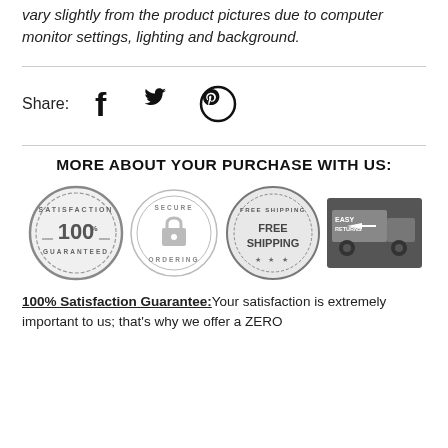vary slightly from the product pictures due to computer monitor settings, lighting and background.
[Figure (infographic): Social share icons: Facebook, Twitter, Pinterest with Share: label]
MORE ABOUT YOUR PURCHASE WITH US:
[Figure (infographic): Four trust badges: 100% Satisfaction Guaranteed stamp, Secure Ordering lock badge, Free Shipping stamp, Easy Returns truck badge]
100% Satisfaction Guarantee: Your satisfaction is extremely important to us; that's why we offer a ZERO